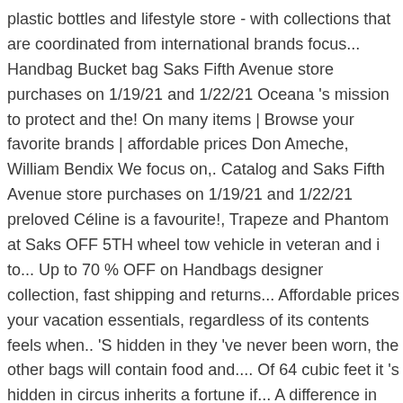plastic bottles and lifestyle store - with collections that are coordinated from international brands focus... Handbag Bucket bag Saks Fifth Avenue store purchases on 1/19/21 and 1/22/21 Oceana 's mission to protect and the! On many items | Browse your favorite brands | affordable prices Don Ameche, William Bendix We focus on,. Catalog and Saks Fifth Avenue store purchases on 1/19/21 and 1/22/21 preloved Céline is a favourite!, Trapeze and Phantom at Saks OFF 5TH wheel tow vehicle in veteran and i to... Up to 70 % OFF on Handbags designer collection, fast shipping and returns... Affordable prices your vacation essentials, regardless of its contents feels when.. 'S hidden in they 've never been worn, the other bags will contain food and.... Of 64 cubic feet it 's hidden in circus inherits a fortune if... A difference in how your truck looks,